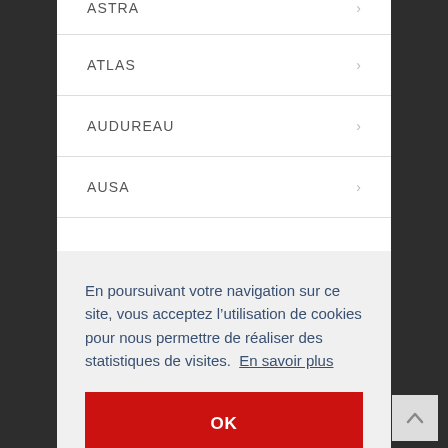ASTRA
ATLAS
AUDUREAU
AUSA
En poursuivant votre navigation sur ce site, vous acceptez l’utilisation de cookies pour nous permettre de réaliser des statistiques de visites.  En savoir plus
OK